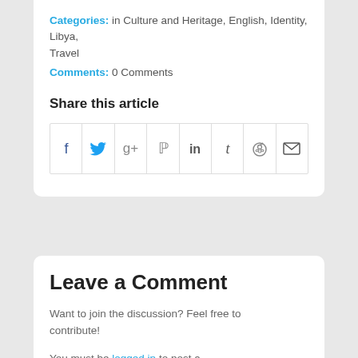Categories: in Culture and Heritage, English, Identity, Libya, Travel
Comments: 0 Comments
Share this article
[Figure (other): Social sharing icons row: Facebook, Twitter, Google+, Pinterest, LinkedIn, Tumblr, Reddit, Email]
Leave a Comment
Want to join the discussion? Feel free to contribute!
You must be logged in to post a